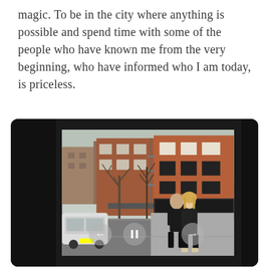magic. To be in the city where anything is possible and spend time with some of the people who have known me from the very beginning, who have informed who I am today, is priceless.
[Figure (photo): A photo displayed inside a dark/black rounded rectangle frame (like a slideshow viewer). The photo shows two people — a man and a woman — standing together on a city street, with brick buildings behind them, bare winter trees, and a white car visible on the left. Navigation arrows (left and right) and a pause button are visible at the bottom of the photo frame.]